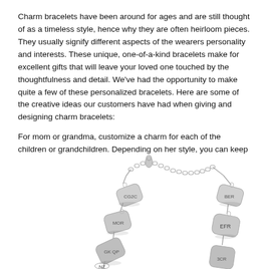Charm bracelets have been around for ages and are still thought of as a timeless style, hence why they are often heirloom pieces. They usually signify different aspects of the wearers personality and interests. These unique, one-of-a-kind bracelets make for excellent gifts that will leave your loved one touched by the thoughtfulness and detail. We've had the opportunity to make quite a few of these personalized bracelets. Here are some of the creative ideas our customers have had when giving and designing charm bracelets:
For mom or grandma, customize a charm for each of the children or grandchildren. Depending on her style, you can keep it simple with single initials or you can have full names with birth dates and even birthstones. This is a great gift option "from the family" that everyone can take part in.
[Figure (photo): A silver charm bracelet with multiple heart/tag shaped charms engraved with initials, hanging from a chain with a lobster clasp visible at top.]